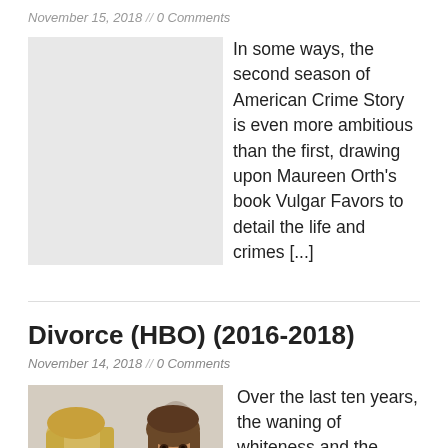November 15, 2018 // 0 Comments
In some ways, the second season of American Crime Story is even more ambitious than the first, drawing upon Maureen Orth’s book Vulgar Favors to detail the life and crimes [...]
Divorce (HBO) (2016-2018)
November 14, 2018 // 0 Comments
[Figure (photo): Two women in a social setting, one with blonde hair looking down-left, one with brown hair looking forward, man blurred in background]
Over the last ten years, the waning of whiteness and the waning of the romantic comedy have tended to go hand in hand in Hollywood cinema—or rather, the